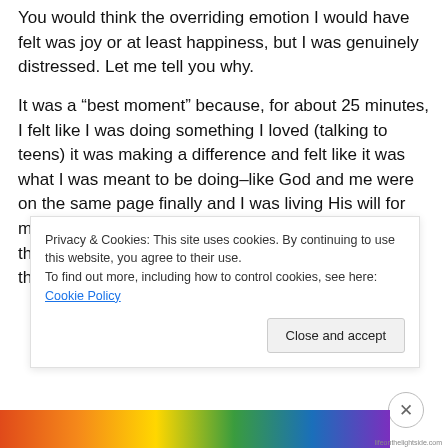You would think the overriding emotion I would have felt was joy or at least happiness, but I was genuinely distressed.  Let me tell you why.
It was a “best moment” because, for about 25 minutes, I felt like I was doing something I loved (talking to teens) it was making a difference and felt like it was what I was meant to be doing–like God and me were on the same page finally and I was living His will for me.  And it made me feel sad.  Sad because my first thought was, why isn’t everyday like this?  Why are these moments when I feel the presence of the Holy Spirit, the conviction of God’s...
Privacy & Cookies: This site uses cookies. By continuing to use this website, you agree to their use.
To find out more, including how to control cookies, see here: Cookie Policy
Close and accept